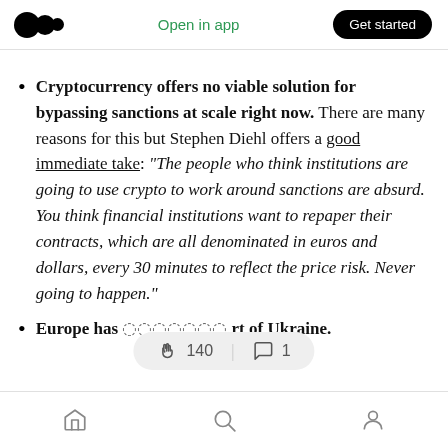Open in app  Get started
Cryptocurrency offers no viable solution for bypassing sanctions at scale right now. There are many reasons for this but Stephen Diehl offers a good immediate take: “The people who think institutions are going to use crypto to work around sanctions are absurd. You think financial institutions want to repaper their contracts, which are all denominated in euros and dollars, every 30 minutes to reflect the price risk. Never going to happen.”
Europe has … rt of Ukraine.